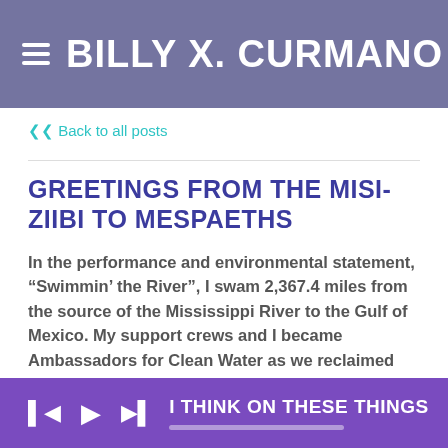BILLY X. CURMANO
< Back to all posts
GREETINGS FROM THE MISI-ZIIBI TO MESPAETHS
In the performance and environmental statement, “Swimmin’ the River”, I swam 2,367.4 miles from the source of the Mississippi River to the Gulf of Mexico. My support crews and I became Ambassadors for Clean Water as we reclaimed the waterways for life affirming pursuits.
Cause all things connect to all things
Nothing stands by itself all alone
Our actions and reactions circulate in rings
I THINK ON THESE THINGS